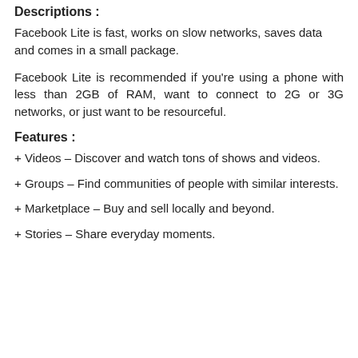Descriptions :
Facebook Lite is fast, works on slow networks, saves data and comes in a small package.
Facebook Lite is recommended if you’re using a phone with less than 2GB of RAM, want to connect to 2G or 3G networks, or just want to be resourceful.
Features :
+ Videos – Discover and watch tons of shows and videos.
+ Groups – Find communities of people with similar interests.
+ Marketplace – Buy and sell locally and beyond.
+ Stories – Share everyday moments.